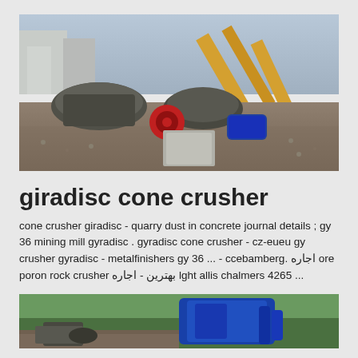[Figure (photo): Outdoor industrial quarry / mining site with cone crushers, conveyor belts, and heavy machinery. Grey gravel and rubble cover the ground. A red flywheel and blue motor are visible. Multiple conveyor belts run in the background with yellow equipment.]
giradisc cone crusher
cone crusher giradisc - quarry dust in concrete journal details ; gy 36 mining mill gyradisc . gyradisc cone crusher - cz-eueu gy crusher gyradisc - metalfinishers gy 36 ... - ccebamberg. اجاره ore poron rock crusher بهترین - اجاره lght allis chalmers 4265 ...
[Figure (photo): Outdoor industrial site with blue cone crusher equipment, green vegetation in background, and gravel/rubble on the ground.]